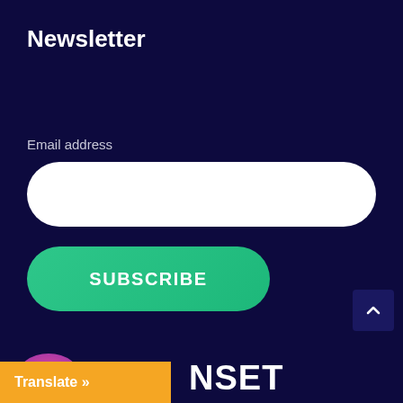Newsletter
Email address
[Figure (screenshot): White rounded email address input field]
[Figure (screenshot): Green rounded SUBSCRIBE button]
[Figure (screenshot): Dark blue scroll-to-top button with caret icon in bottom right]
[Figure (screenshot): Pink/magenta partial circle at bottom left]
[Figure (screenshot): Orange Translate bar with text 'Translate »']
NSET